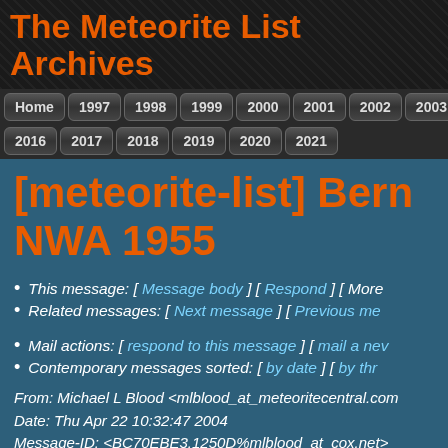The Meteorite List Archives
Home 1997 1998 1999 2000 2001 2002 2003 2004 | 2016 2017 2018 2019 2020 2021
[meteorite-list] Bern... NWA 1955
This message: [ Message body ] [ Respond ] [ More...
Related messages: [ Next message ] [ Previous me...
Mail actions: [ respond to this message ] [ mail a new...
Contemporary messages sorted: [ by date ] [ by thr...
From: Michael L Blood <mlblood_at_meteoritecentral.com...>
Date: Thu Apr 22 10:32:47 2004
Message-ID: <BC70EBE3.1250D%mlblood_at_cox.net>